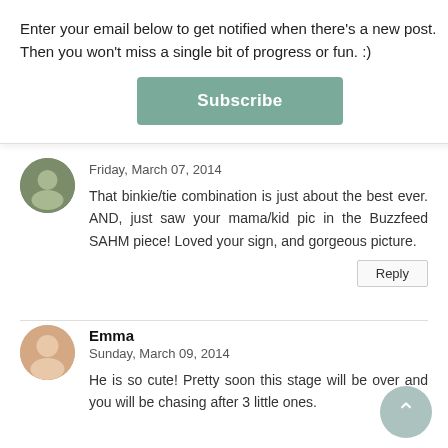Enter your email below to get notified when there's a new post. Then you won't miss a single bit of progress or fun. :)
Subscribe
Friday, March 07, 2014
That binkie/tie combination is just about the best ever. AND, just saw your mama/kid pic in the Buzzfeed SAHM piece! Loved your sign, and gorgeous picture.
Reply
Emma
Sunday, March 09, 2014
He is so cute! Pretty soon this stage will be over and you will be chasing after 3 little ones.